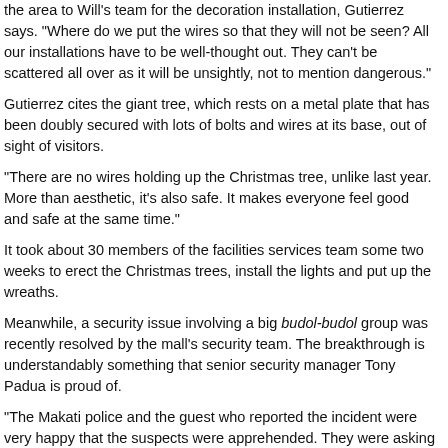the area to Will's team for the decoration installation, Gutierrez says. "Where do we put the wires so that they will not be seen? All our installations have to be well-thought out. They can't be scattered all over as it will be unsightly, not to mention dangerous."
Gutierrez cites the giant tree, which rests on a metal plate that has been doubly secured with lots of bolts and wires at its base, out of sight of visitors.
"There are no wires holding up the Christmas tree, unlike last year. More than aesthetic, it's also safe. It makes everyone feel good and safe at the same time."
It took about 30 members of the facilities services team some two weeks to erect the Christmas trees, install the lights and put up the wreaths.
Meanwhile, a security issue involving a big budol-budol group was recently resolved by the mall's security team. The breakthrough is understandably something that senior security manager Tony Padua is proud of.
"The Makati police and the guest who reported the incident were very happy that the suspects were apprehended. They were asking how we did it," says Padua.
According to Padua, who is also in charge of security at Santolan Town Plaza in San Juan, the security team makes sure to give “extra attention” to senior guests, especially those who are at the mall solo and are more likely to be approached by undesirable elements.